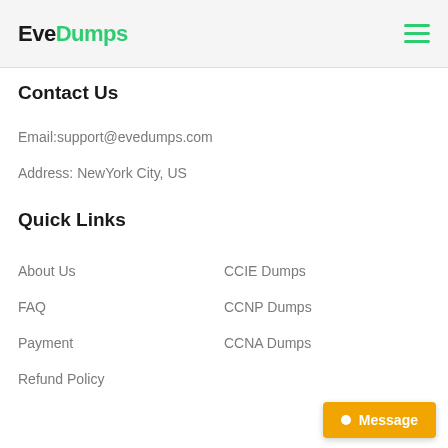EveDumps
Contact Us
Email:support@evedumps.com
Address: NewYork City, US
Quick Links
About Us
CCIE Dumps
FAQ
CCNP Dumps
Payment
CCNA Dumps
Refund Policy
Message